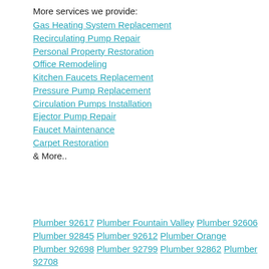More services we provide:
Gas Heating System Replacement
Recirculating Pump Repair
Personal Property Restoration
Office Remodeling
Kitchen Faucets Replacement
Pressure Pump Replacement
Circulation Pumps Installation
Ejector Pump Repair
Faucet Maintenance
Carpet Restoration
& More..
Plumber 92617 Plumber Fountain Valley Plumber 92606 Plumber 92845 Plumber 92612 Plumber Orange Plumber 92698 Plumber 92799 Plumber 92862 Plumber 92708